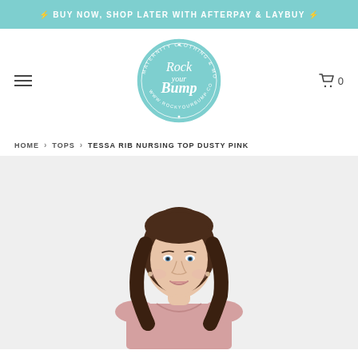⚡ BUY NOW, SHOP LATER WITH AFTERPAY & LAYBUY ⚡
[Figure (logo): Rock Your Bump – Maternity Clothing & More circular logo in teal/mint color]
HOME > TOPS > TESSA RIB NURSING TOP DUSTY PINK
[Figure (photo): Woman with brown wavy hair wearing a dusty pink ribbed nursing top, photographed against a light grey background, cropped at mid-chest]